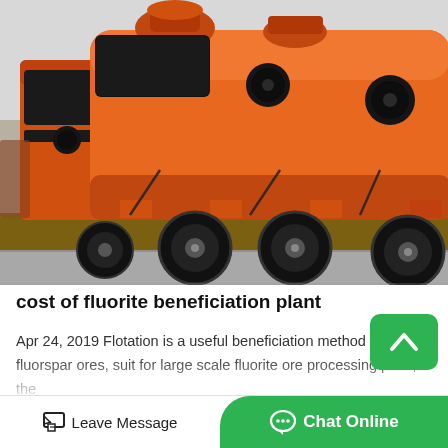[Figure (photo): Large orange industrial flotation/beneficiation tank equipment loaded on a flatbed truck, photographed outdoors. Multiple orange cylindrical tanks with black panels and circular ports are visible, supported by orange legs on the truck bed. Chains secure the load.]
cost of fluorite beneficiation plant
Apr 24, 2019 Flotation is a useful beneficiation method for fluo fluorspar ores, suit for large scale fluorite ore processing plant, the flotation process and chemical age